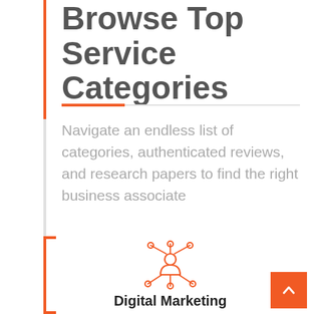Browse Top Service Categories
Navigate an endless list of categories, authenticated reviews, and research papers to find the right business associate
[Figure (illustration): Orange icon of a person with network connections radiating outward to circles, representing digital marketing or network connectivity]
Digital Marketing